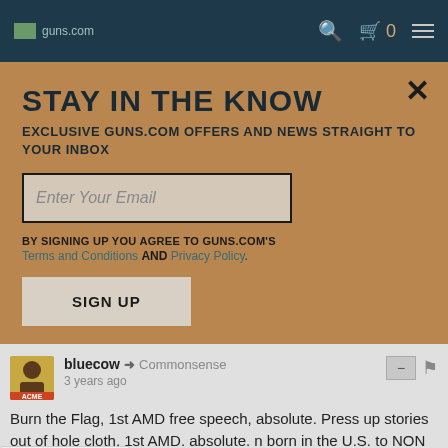guns.com navigation bar with search, cart (0), and menu icons
STAY IN THE KNOW
EXCLUSIVE GUNS.COM OFFERS AND NEWS STRAIGHT TO YOUR INBOX
Enter Your Email
BY SIGNING UP YOU AGREE TO GUNS.COM'S Terms and Conditions AND Privacy Policy.
SIGN UP
bluecow → Commonsense
3 years ago
Burn the Flag, 1st AMD free speech, absolute. Press up stories out of hole cloth, 1st AMD. absolute. n born in the U.S. to NON citizen criminals